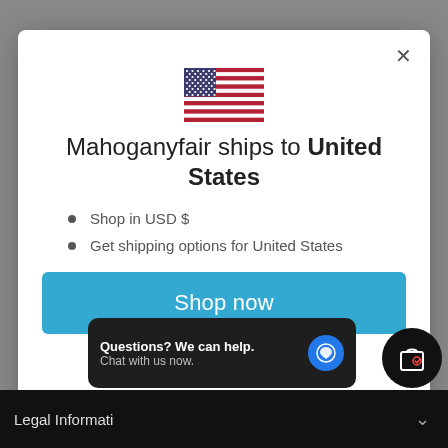[Figure (illustration): US flag emoji / icon centered in the modal dialog]
Mahoganyfair ships to United States
Shop in USD $
Get shipping options for United States
Shop now
Questions? We can help. Chat with us now.
Legal Informati